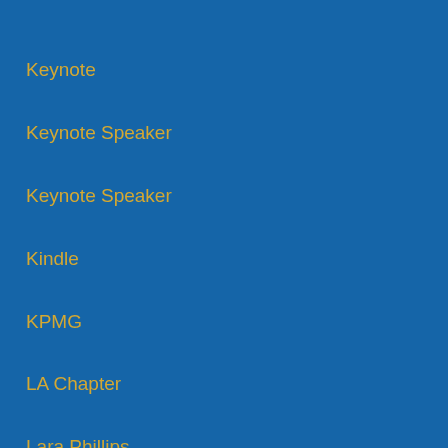Keynote
Keynote Speaker
Keynote Speaker
Kindle
KPMG
LA Chapter
Lara Phillips
Large-Scale Projects
Las Vegas